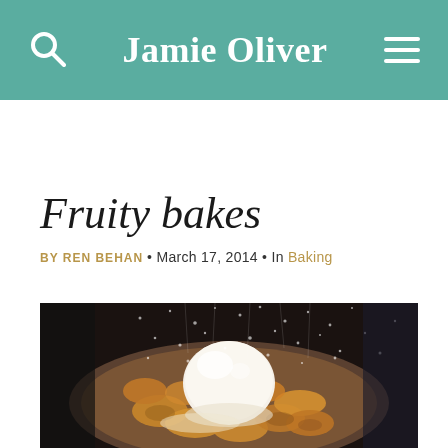Jamie Oliver
Fruity bakes
BY REN BEHAN • March 17, 2014 • In Baking
[Figure (photo): A rustic baked dessert in a round pan with golden pastry/dough pieces and a large scoop of vanilla ice cream on top, dusted with powdered sugar being sprinkled from above.]